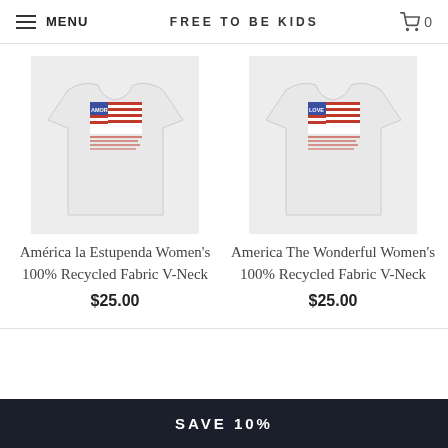MENU  FREE TO BE KIDS  0
[Figure (photo): T-shirt with American flag design showing 'AMOR' text, light grey color]
América la Estupenda Women's 100% Recycled Fabric V-Neck
$25.00
[Figure (photo): T-shirt with American flag design showing 'LOVE' text, light grey color]
America The Wonderful Women's 100% Recycled Fabric V-Neck
$25.00
SAVE 10%